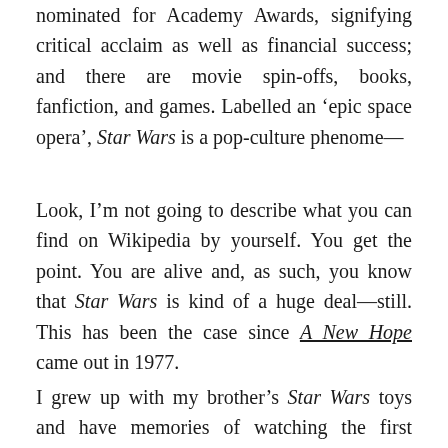nominated for Academy Awards, signifying critical acclaim as well as financial success; and there are movie spin-offs, books, fanfiction, and games. Labelled an ‘epic space opera’, Star Wars is a pop-culture phenome—
Look, I’m not going to describe what you can find on Wikipedia by yourself. You get the point. You are alive and, as such, you know that Star Wars is kind of a huge deal—still. This has been the case since A New Hope came out in 1977.
I grew up with my brother’s Star Wars toys and have memories of watching the first trilogy. Star